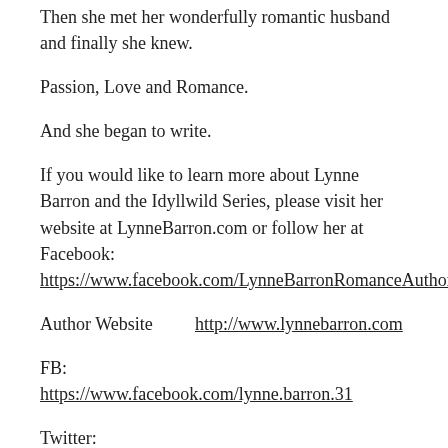Then she met her wonderfully romantic husband and finally she knew.
Passion, Love and Romance.
And she began to write.
If you would like to learn more about Lynne Barron and the Idyllwild Series, please visit her website at LynneBarron.com or follow her at Facebook: https://www.facebook.com/LynneBarronRomanceAuthor
Author Website    http://www.lynnebarron.com
FB:
https://www.facebook.com/lynne.barron.31
Twitter: